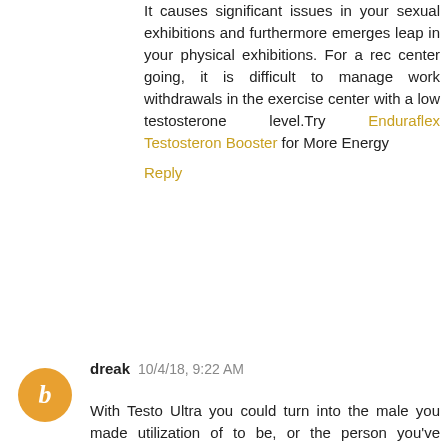It causes significant issues in your sexual exhibitions and furthermore emerges leap in your physical exhibitions. For a rec center going, it is difficult to manage work withdrawals in the exercise center with a low testosterone level. Try Enduraflex Testosteron Booster for More Energy
Reply
dreak 10/4/18, 9:22 AM
With Testo Ultra you could turn into the male you made utilization of to be, or the person you've always planned to be. Sex-related scatters of a few sorts may have extreme outcomes on joint efforts. On the off chance that you lose confidence, you will probably perform ineffectively each time. Tis endless loop can be stopped, in any case, with a Testosterone supporter that perceives the issue that men deal with. By enhancing and furthermore growing your erections you could at long last entire your devotee's sexual necessitie.
Testo Ultra